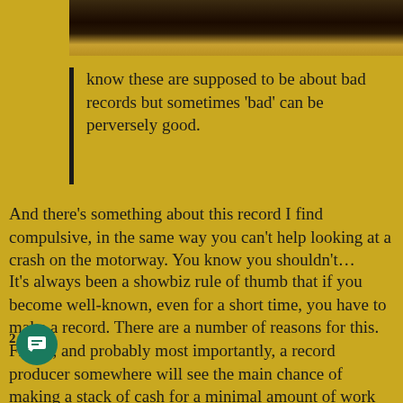[Figure (photo): Partial photo showing a person's face/head, cropped at the top of the page, dark tones]
know these are supposed to be about bad records but sometimes 'bad' can be perversely good. And there's something about this record I find compulsive, in the same way you can't help looking at a crash on the motorway. You know you shouldn't...
It's always been a showbiz rule of thumb that if you become well-known, even for a short time, you have to make a record. There are a number of reasons for this. Firstly, and probably most importantly, a record producer somewhere will see the main chance of making a stack of cash for a minimal amount of work